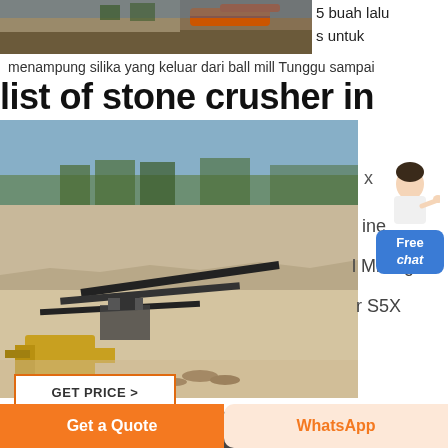[Figure (photo): Top strip photo of an industrial/mining site with orange conveyor equipment and rocky terrain]
5 buah lalu
s untuk
menampung silika yang keluar dari ball mill Tunggu sampai
list of stone crusher in west
[Figure (photo): Large quarry site with excavated rock face, conveyor belts, heavy machinery and yellow loader in foreground]
x
ine
l Mining
r S5X
[Figure (illustration): Customer service avatar - woman in white shirt gesturing]
Free
chat
GET PRICE >
salt rock crusher
[Figure (photo): Interior of industrial facility with overhead lighting]
Get a Quote
WhatsApp